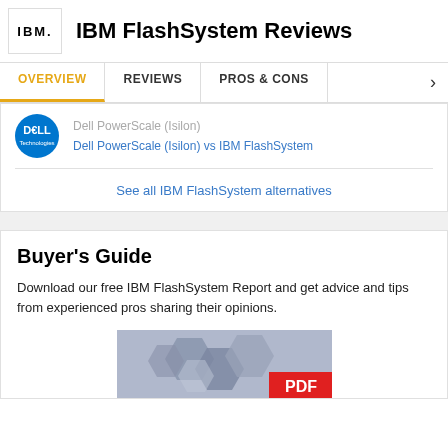IBM FlashSystem Reviews
OVERVIEW   REVIEWS   PROS & CONS
Dell PowerScale (Isilon)
Dell PowerScale (Isilon) vs IBM FlashSystem
See all IBM FlashSystem alternatives
Buyer's Guide
Download our free IBM FlashSystem Report and get advice and tips from experienced pros sharing their opinions.
[Figure (other): PDF document preview with hexagonal pattern and red PDF badge]